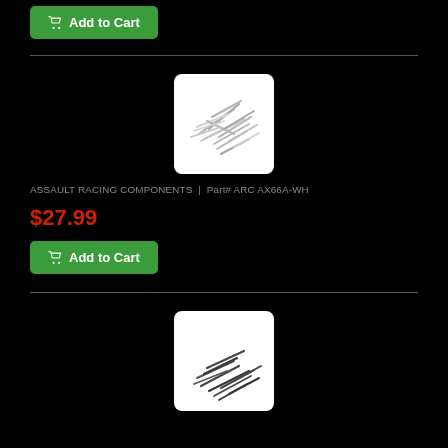[Figure (photo): A pile of small silver/metallic screws or nails on a white background]
ASSAULT RACING COMPONENTS  |  Part# ARC AX66A-WH
$27.99
Add to Cart
[Figure (photo): A pile of small black screws on a white background]